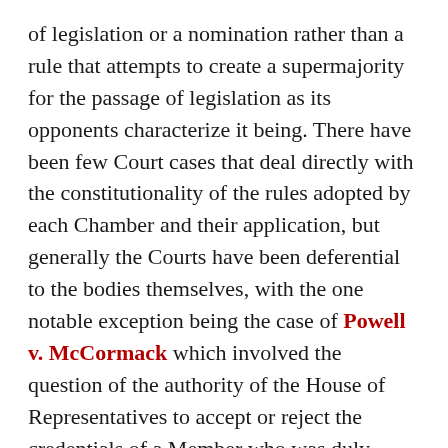of legislation or a nomination rather than a rule that attempts to create a supermajority for the passage of legislation as its opponents characterize it being. There have been few Court cases that deal directly with the constitutionality of the rules adopted by each Chamber and their application, but generally the Courts have been deferential to the bodies themselves, with the one notable exception being the case of Powell v. McCormack which involved the question of the authority of the House of Representatives to accept or reject the credentials of a Member who was duly elected in an election that did not appear to be tainted by allegations of fraud. Given that, it’s not surprising that the Court declined to hear this case, which seems to fall clearly within the discretion granted by the Constitution.
Looking specifically at the filibuster in the context of the